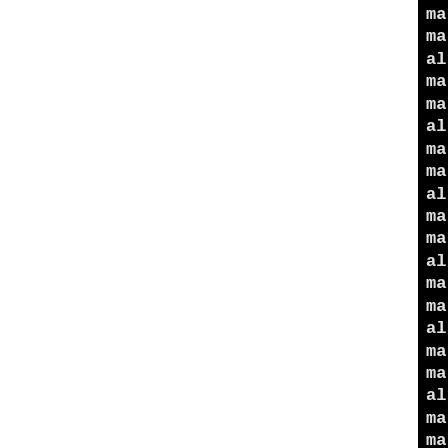[Figure (screenshot): Terminal/console output showing repeating pattern of make[2] Entering directory, make[2] Leaving directory, and alpha-pld-linux-gcc -I.. lines on a black background with white monospace text. The left portion of the page is white (document background), and the right portion shows the terminal screenshot cropped.]